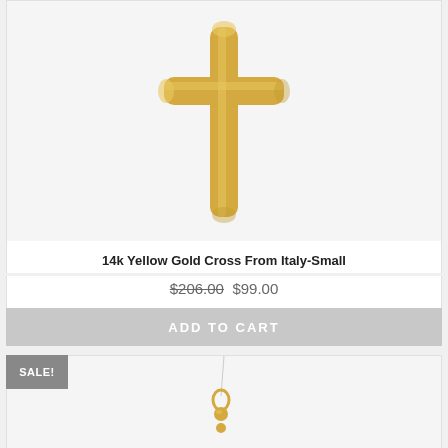[Figure (photo): 14k Yellow Gold Cross pendant product photo on white/light gray background — a slim elongated gold cross with rounded ends]
14k Yellow Gold Cross From Italy-Small
$206.00 $99.00
ADD TO CART
SALE!
[Figure (photo): Partial product photo of a small gold charm or pendant on a thin necklace chain, showing only the top portion of the item]